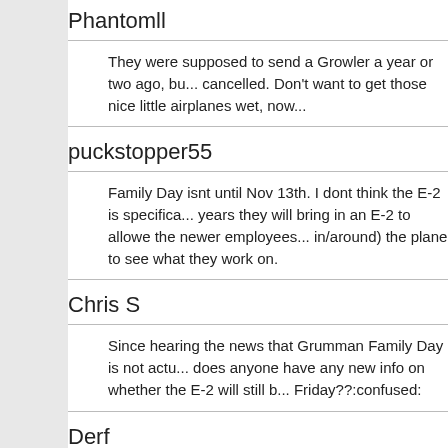Phantomll
They were supposed to send a Growler a year or two ago, but that got cancelled. Don't want to get those nice little airplanes wet, now...
puckstopper55
Family Day isnt until Nov 13th. I dont think the E-2 is specifically... years they will bring in an E-2 to allowe the newer employees... in/around) the plane to see what they work on.
Chris S
Since hearing the news that Grumman Family Day is not actu... does anyone have any new info on whether the E-2 will still b... Friday??:confused:
Derf
E2 is supposed to be there by 10AM Friday from the news...